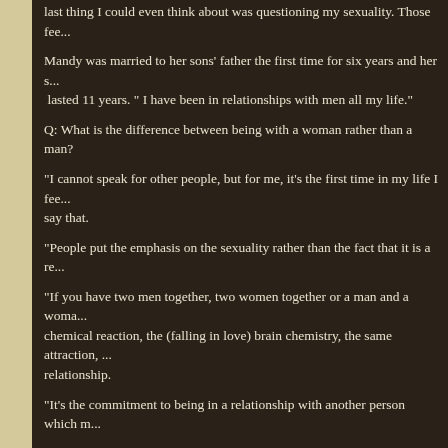last thing I could even think about was questioning my sexuality. Those fee...
Mandy was married to her sons' father the first time for six years and her s... lasted 11 years. " I have been in relationships with men all my life."
Q: What is the difference between being with a woman rather than a man?
“I cannot speak for other people, but for me, it's the first time in my life I fee... say that.
“People put the emphasis on the sexuality rather than the fact that it is a re...
“If you have two men together, two women together or a man and a woma... chemical reaction, the (falling in love) brain chemistry, the same attraction, ... relationship.
“It’s the commitment to being in a relationship with another person which m...
“That whole notion of homosexual behaviour is still confronting to many pe... when I live in that (gay) community.''
She talks of the world-wide gay community being inclusive.
“I feel  very happy to be in it.”
It was Mandy’s idea to go to Spain. She had visited Barcelona years before...  intended to live there and set up her building company.  On the other hand... going to Germany to dance professionally.
However, as the date of parting drew nearer, Natalia decided to go to Spai...